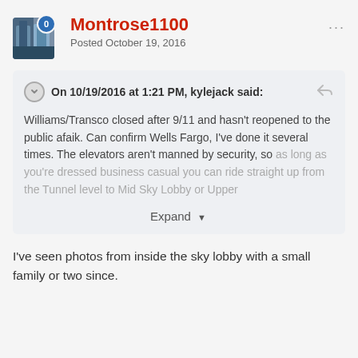Montrose1100
Posted October 19, 2016
On 10/19/2016 at 1:21 PM, kylejack said:
Williams/Transco closed after 9/11 and hasn't reopened to the public afaik. Can confirm Wells Fargo, I've done it several times. The elevators aren't manned by security, so as long as you're dressed business casual you can ride straight up from the Tunnel level to Mid Sky Lobby or Upper
Expand
I've seen photos from inside the sky lobby with a small family or two since.